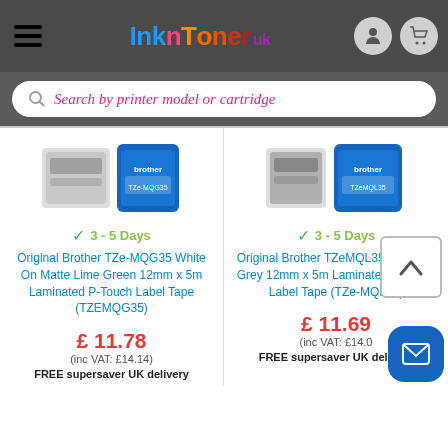InknToner UK - header with hamburger menu, logo, user and cart icons
Search by printer model or cartridge
[Figure (photo): Product image: Original Brother TZe-MQG35 label tape packaging showing tape roll and blue Brother branded box]
3 - 5 Days
Original Brother TZe-MQG35 White On Matte Lime Green 12mm x 5m Laminated P-Touch Label Tape (TZEMQG35)
£ 11.78
(inc VAT: £14.14)
FREE supersaver UK delivery
[Figure (photo): Product image: Original Brother TZeMQL35 label tape packaging showing tape roll and blue Brother branded box]
3 - 5 Days
Original Brother TZeMQL35 White on Grey 12mm x 5m Laminated P-Touch Label Tape (TZe-MQL35)
£ 11.69
(inc VAT: £14.0
FREE supersaver UK delivery